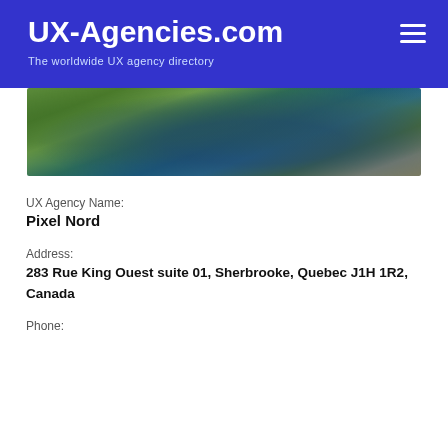UX-Agencies.com
The worldwide UX agency directory
[Figure (photo): Aerial photograph of a marina/harbor area with green trees, a river or bay, docked boats, and surrounding landscape]
UX Agency Name:
Pixel Nord
Address:
283 Rue King Ouest suite 01, Sherbrooke, Quebec J1H 1R2, Canada
Phone: